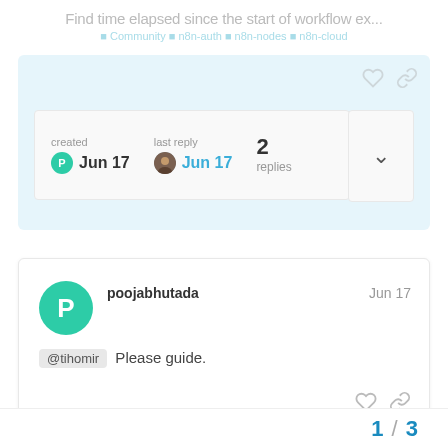Find time elapsed since the start of workflow ex...
created Jun 17  last reply Jun 17  2 replies
poojabhutada  Jun 17
@tihomir Please guide.
1 / 3